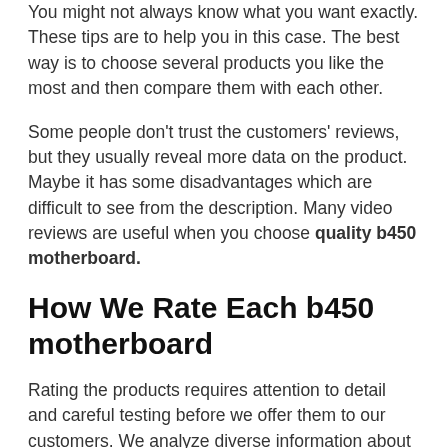You might not always know what you want exactly. These tips are to help you in this case. The best way is to choose several products you like the most and then compare them with each other.
Some people don't trust the customers' reviews, but they usually reveal more data on the product. Maybe it has some disadvantages which are difficult to see from the description. Many video reviews are useful when you choose quality b450 motherboard.
How We Rate Each b450 motherboard
Rating the products requires attention to detail and careful testing before we offer them to our customers. We analyze diverse information about a particular product. It includes both company and customer reviews. Sometimes manufacturers might skip noting